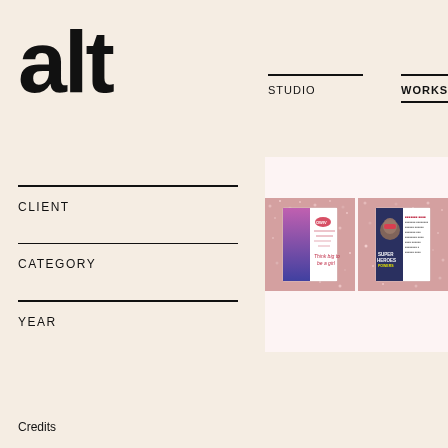alt
STUDIO   WORKS
CLIENT
CATEGORY
YEAR
[Figure (photo): Close-up photo of fabric or paper with repeating pink floral pattern with ribbons on white background]
[Figure (photo): Two booklets/brochures displayed on pink glittery background — left booklet shows purple-to-blue gradient and pink typography, right booklet shows a baby wearing a superhero mask and text SUPER HEROES POWERS]
Credits